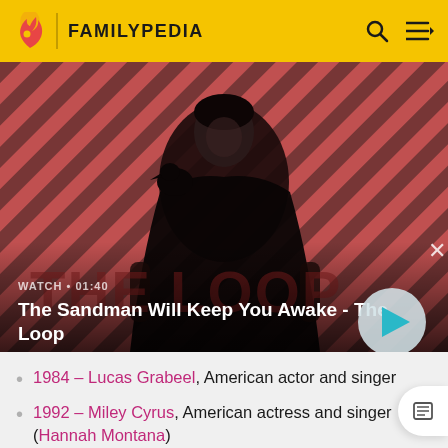FAMILYPEDIA
[Figure (screenshot): Video thumbnail showing a dark-cloaked figure with a raven on their shoulder against a red diagonal striped background. Text overlay reads WATCH • 01:40 and title The Sandman Will Keep You Awake - The Loop, with a play button circle on the right.]
1984 – Lucas Grabeel, American actor and singer
1992 – Miley Cyrus, American actress and singer (Hannah Montana)